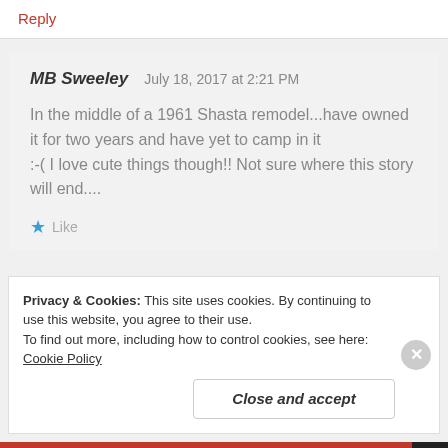Reply
MB Sweeley   July 18, 2017 at 2:21 PM
In the middle of a 1961 Shasta remodel...have owned it for two years and have yet to camp in it :-( I love cute things though!! Not sure where this story will end....
★ Like
Privacy & Cookies: This site uses cookies. By continuing to use this website, you agree to their use. To find out more, including how to control cookies, see here: Cookie Policy
Close and accept